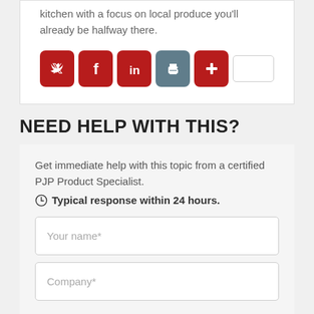kitchen with a focus on local produce you'll already be halfway there.
[Figure (infographic): Social sharing icons: Twitter (red), Facebook (red), LinkedIn (red), Print (grey), Plus/More (red), and a blank white button]
NEED HELP WITH THIS?
Get immediate help with this topic from a certified PJP Product Specialist.
⊙ Typical response within 24 hours.
Your name*
Company*